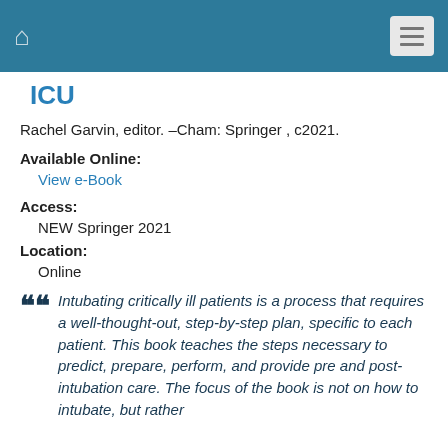ICU
Rachel Garvin, editor. –Cham: Springer , c2021.
Available Online:
View e-Book
Access:
NEW Springer 2021
Location:
Online
Intubating critically ill patients is a process that requires a well-thought-out, step-by-step plan, specific to each patient. This book teaches the steps necessary to predict, prepare, perform, and provide pre and post-intubation care. The focus of the book is not on how to intubate, but rather